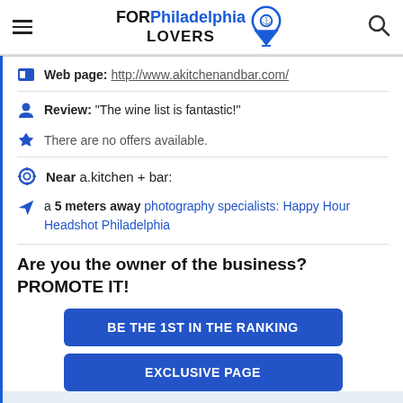FOR Philadelphia LOVERS
Web page: http://www.akitchenandbar.com/
Review: "The wine list is fantastic!"
There are no offers available.
Near a.kitchen + bar:
a 5 meters away photography specialists: Happy Hour Headshot Philadelphia
Are you the owner of the business? PROMOTE IT!
BE THE 1ST IN THE RANKING
EXCLUSIVE PAGE